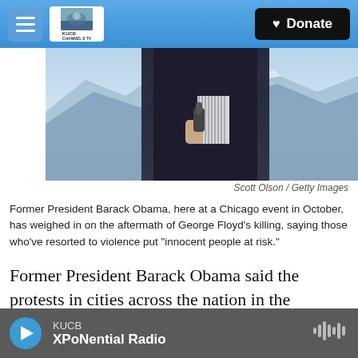KUCB Channel 8 TV | Donate
[Figure (photo): Person in dark suit holding a microphone, partial view from chest down, background shows mountain/winter landscape]
Scott Olson / Getty Images
Former President Barack Obama, here at a Chicago event in October, has weighed in on the aftermath of George Floyd's killing, saying those who've resorted to violence put "innocent people at risk."
Former President Barack Obama said the protests in cities across the nation in the aftermath of George Floyd's death in Minneapolis under a police officer's knee "represent a genuine and legitimate frustration over a decades-long failure to reform police practices and the broader criminal justice
KUCB XPoNential Radio